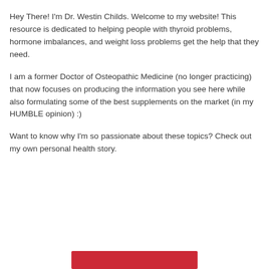Hey There! I'm Dr. Westin Childs. Welcome to my website! This resource is dedicated to helping people with thyroid problems, hormone imbalances, and weight loss problems get the help that they need.
I am a former Doctor of Osteopathic Medicine (no longer practicing) that now focuses on producing the information you see here while also formulating some of the best supplements on the market (in my HUMBLE opinion) :)
Want to know why I'm so passionate about these topics? Check out my own personal health story.
[Figure (other): Red button/banner at bottom of page]